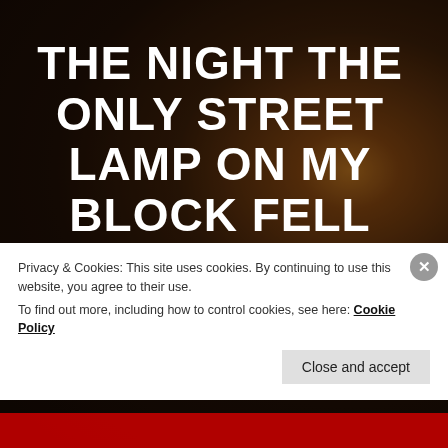[Figure (photo): Dark nighttime street scene with warm orange glow from a street lamp visible on the right side, silhouettes of trees against a dark reddish-brown sky]
THE NIGHT THE ONLY STREET LAMP ON MY BLOCK FELL
FEB 16, 2014  roberto f. santiago: the night the only street lamp on my block fell The sidewalk was littered with long nights and shorter days. My path,
Privacy & Cookies: This site uses cookies. By continuing to use this website, you agree to their use.
To find out more, including how to control cookies, see here: Cookie Policy
Close and accept